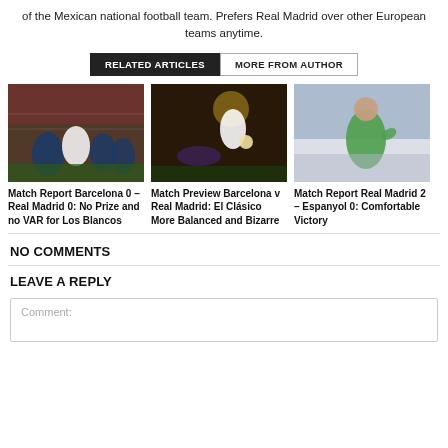of the Mexican national football team. Prefers Real Madrid over other European teams anytime.
RELATED ARTICLES   MORE FROM AUTHOR
[Figure (photo): Football match photo: Barcelona vs Real Madrid players in action near goal]
[Figure (photo): Football match photo: Two players in action, one sliding tackle]
[Figure (photo): Football player celebrating in green jersey]
Match Report Barcelona 0 – Real Madrid 0: No Prize and no VAR for Los Blancos
Match Preview Barcelona v Real Madrid: El Clásico More Balanced and Bizarre
Match Report Real Madrid 2 – Espanyol 0: Comfortable Victory
NO COMMENTS
LEAVE A REPLY
Comment: